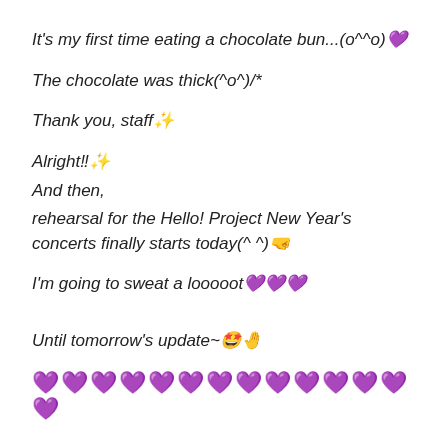It's my first time eating a chocolate bun...(o^^o)💜
The chocolate was thick(^o^)/*
Thank you, staff✨
Alright‼✨
And then,
rehearsal for the Hello! Project New Year's concerts finally starts today(^ ^)🤜
I'm going to sweat a looooot💜💜💜
Until tomorrow's update~🤩🤚
💜💜💜💜💜💜💜💜💜💜💜💜💜💜